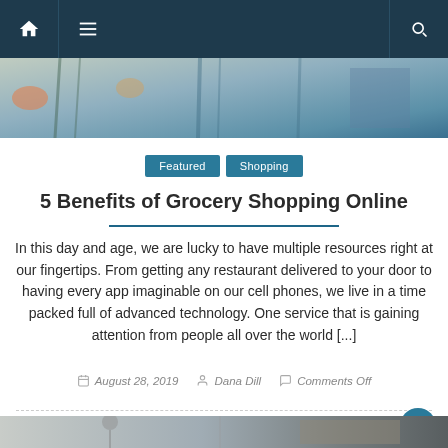[Navigation bar with home icon, hamburger menu, and search icon]
[Figure (photo): Hero image strip showing colorful decorative items and plants]
Featured  Shopping
5 Benefits of Grocery Shopping Online
In this day and age, we are lucky to have multiple resources right at our fingertips. From getting any restaurant delivered to your door to having every app imaginable on our cell phones, we live in a time packed full of advanced technology. One service that is gaining attention from people all over the world [...]
August 28, 2019  Dana Dill  Comments Off
[Figure (photo): Bottom strip showing bathroom interior with rainfall shower head]